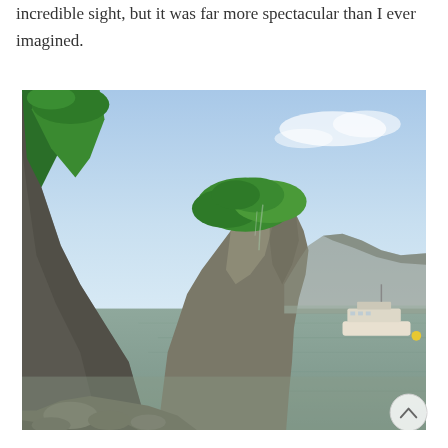incredible sight, but it was far more spectacular than I ever imagined.
[Figure (photo): Photograph of a limestone karst island covered in lush green vegetation, rising steeply from calm brownish water. Blue sky with light clouds in the background. A white tourist boat is visible in the water on the right side. Rocky shoreline visible at the base of the cliff.]